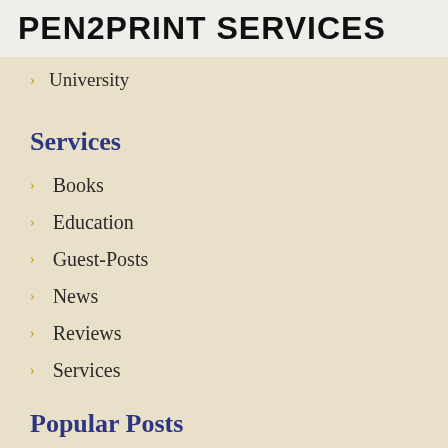PEN2PRINT SERVICES
University
Services
Books
Education
Guest-Posts
News
Reviews
Services
Popular Posts